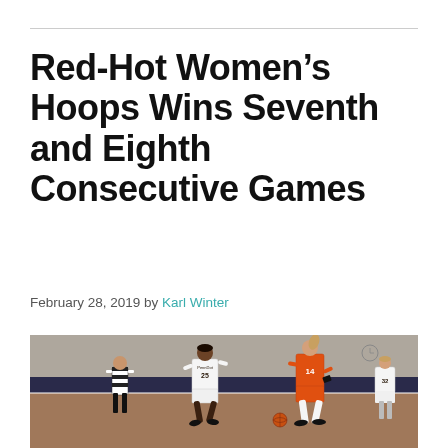Red-Hot Women's Hoops Wins Seventh and Eighth Consecutive Games
February 28, 2019 by Karl Winter
[Figure (photo): Women's basketball game photo showing players on a court. Player #25 in white home uniform and player #14 in orange away uniform running, with a referee and player #32 visible in background.]